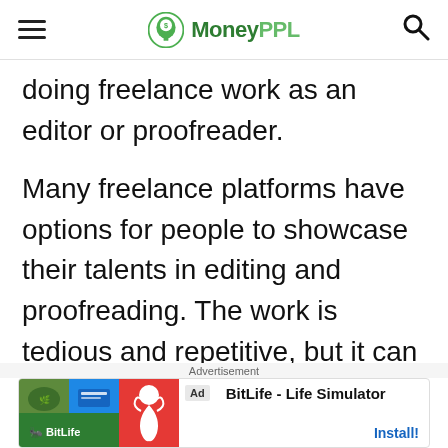MoneyPPL
doing freelance work as an editor or proofreader.
Many freelance platforms have options for people to showcase their talents in editing and proofreading. The work is tedious and repetitive, but it can help fill in the gaps while you are unemployed or underemployed. And once you start
[Figure (other): BitLife Life Simulator advertisement banner with Ad badge, green and blue game screenshots, orange BitLife logo with sperm icon, app title and Install button]